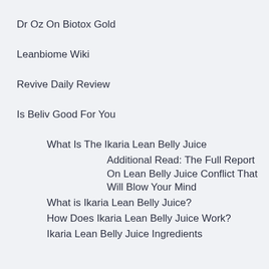Dr Oz On Biotox Gold
Leanbiome Wiki
Revive Daily Review
Is Beliv Good For You
What Is The Ikaria Lean Belly Juice
Additional Read: The Full Report On Lean Belly Juice Conflict That Will Blow Your Mind
What is Ikaria Lean Belly Juice?
How Does Ikaria Lean Belly Juice Work?
Ikaria Lean Belly Juice Ingredients